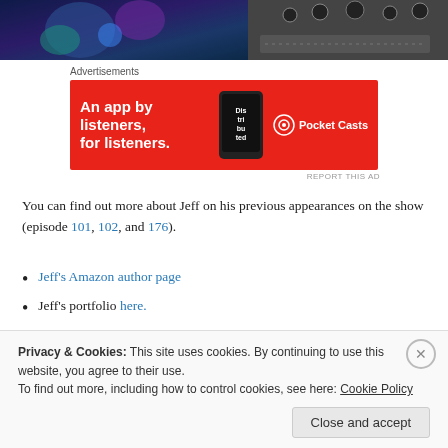[Figure (photo): Top banner image showing colorful game/music themed artwork on left and audio equipment on right]
Advertisements
[Figure (other): Pocket Casts advertisement banner in red: 'An app by listeners, for listeners.' with Pocket Casts logo]
You can find out more about Jeff on his previous appearances on the show (episode 101, 102, and 176).
Jeff's Amazon author page
Jeff's portfolio here.
Soundcloud (as Starbound Renegade
Spotify (as Starbound Renegade)
Youtube
Instagram
Privacy & Cookies: This site uses cookies. By continuing to use this website, you agree to their use. To find out more, including how to control cookies, see here: Cookie Policy